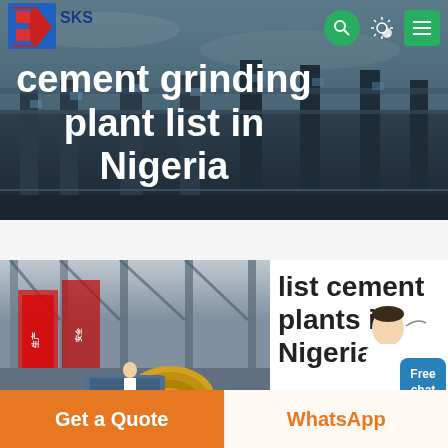[Figure (screenshot): SKS company logo with red and blue diagonal shapes and text]
SKS — navigation bar with search icon, theme toggle, and menu button
cement grinding plant list in Nigeria
Home » cement grinding plant list in Nigeria
[Figure (illustration): Customer service representative figure with Free chat button]
[Figure (photo): Interior of industrial cement plant facility]
list cement plants in Nigeria
Get a Quote
WhatsApp